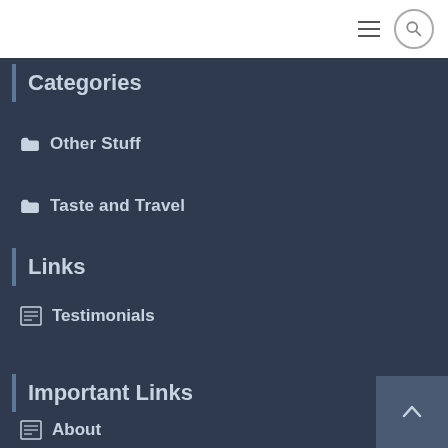[hamburger menu] [search icon]
Categories
Other Stuff
Taste and Travel
Links
Testimonials
Important Links
About